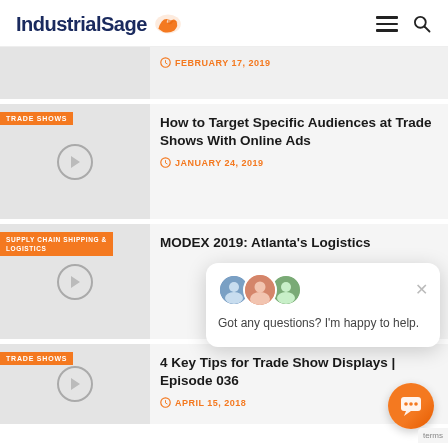IndustrialSage
FEBRUARY 17, 2019
TRADE SHOWS
How to Target Specific Audiences at Trade Shows With Online Ads
JANUARY 24, 2019
SUPPLY CHAIN SHIPPING & LOGISTICS
MODEX 2019: Atlanta's Logistics
Got any questions? I'm happy to help.
TRADE SHOWS
4 Key Tips for Trade Show Displays | Episode 036
APRIL 15, 2018